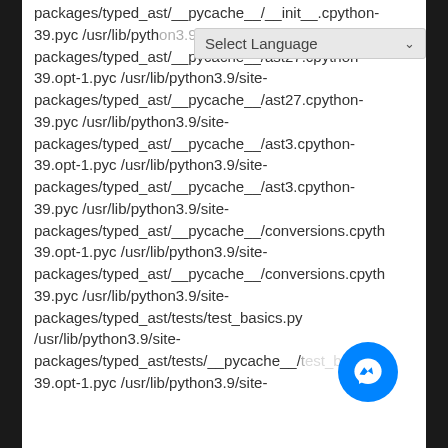packages/typed_ast/__pycache__/__init__.cpython-39.pyc /usr/lib/python3.9/site-packages/typed_ast/__pycache__/ast27.cpython-39.opt-1.pyc /usr/lib/python3.9/site-packages/typed_ast/__pycache__/ast27.cpython-39.pyc /usr/lib/python3.9/site-packages/typed_ast/__pycache__/ast3.cpython-39.opt-1.pyc /usr/lib/python3.9/site-packages/typed_ast/__pycache__/ast3.cpython-39.pyc /usr/lib/python3.9/site-packages/typed_ast/__pycache__/conversions.cpython-39.opt-1.pyc /usr/lib/python3.9/site-packages/typed_ast/__pycache__/conversions.cpython-39.pyc /usr/lib/python3.9/site-packages/typed_ast/tests/test_basics.py /usr/lib/python3.9/site-packages/typed_ast/tests/__pycache__/test_basics.cpython-39.opt-1.pyc /usr/lib/python3.9/site-packages/